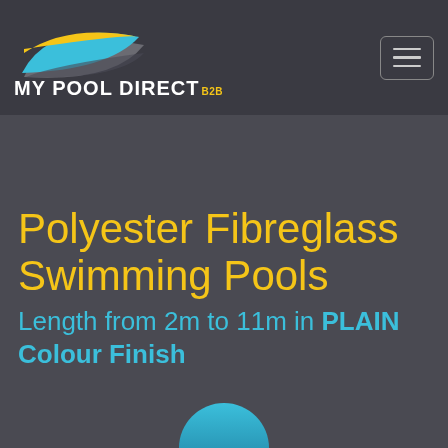[Figure (logo): My Pool Direct B2B logo with a stylized water/leaf shape in blue, yellow and grey, and the text MY POOL DIRECT with B2B superscript in yellow]
Polyester Fibreglass Swimming Pools
Length from 2m to 11m in PLAIN Colour Finish